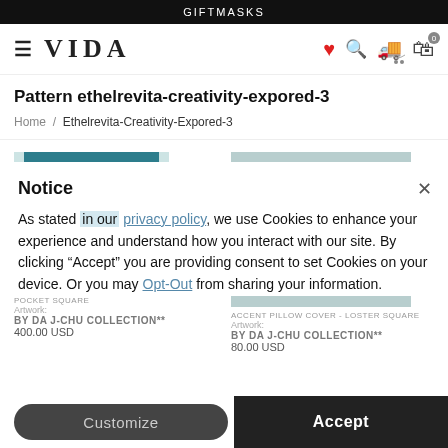GIFTMASKS
VIDA
Pattern ethelrevita-creativity-expored-3
Home / Ethelrevita-Creativity-Expored-3
[Figure (photo): Product image of pillow/cushion with teal and white ocean wave pattern]
[Figure (photo): Product image of accent pillow cover with teal and white ocean wave pattern on gray background]
POCKET SQUARE
Artwork:
BY DA J-CHU COLLECTION**
400.00 USD
ACCENT PILLOW COVER - LOSTER SQUARE
Artwork:
BY DA J-CHU COLLECTION**
80.00 USD
Notice
As stated in our privacy policy, we use Cookies to enhance your experience and understand how you interact with our site. By clicking "Accept" you are providing consent to set Cookies on your device. Or you may Opt-Out from sharing your information.
Customize
Accept